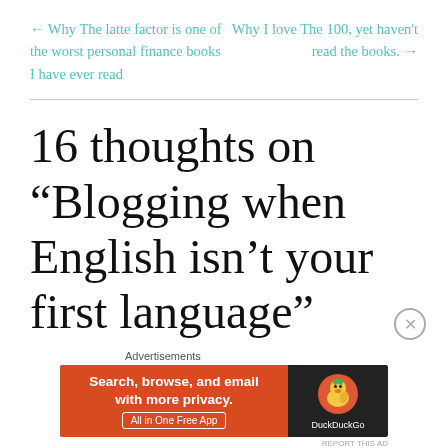← Why The latte factor is one of the worst personal finance books I have ever read
Why I love The 100, yet haven't read the books. →
16 thoughts on “Blogging when English isn’t your first language”
[Figure (other): DuckDuckGo advertisement banner: 'Search, browse, and email with more privacy. All in One Free App' with DuckDuckGo logo on dark background]
Advertisements